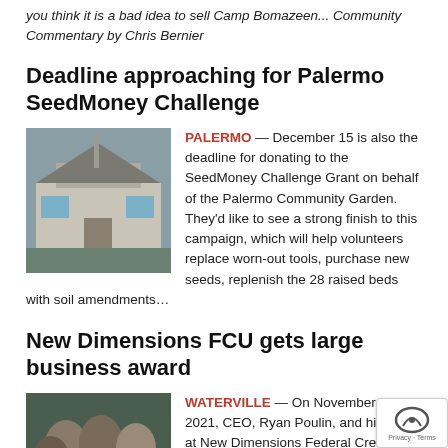you think it is a bad idea to sell Camp Bomazeen... Community Commentary by Chris Bernier
Deadline approaching for Palermo SeedMoney Challenge
[Figure (photo): Photo of a grey wooden building/house with a pole]
PALERMO — December 15 is also the deadline for donating to the SeedMoney Challenge Grant on behalf of the Palermo Community Garden. They'd like to see a strong finish to this campaign, which will help volunteers replace worn-out tools, purchase new seeds, replenish the 28 raised beds with soil amendments…
New Dimensions FCU gets large business award
[Figure (photo): Photo of a group of people including Ryan Poulin holding an award]
WATERVILLE — On November 4, 2021, CEO, Ryan Poulin, and his team at New Dimensions Federal Credit Union, in Waterville, humbly accepted Mid-Maine Chamber of Commerce's 2020 Large Business Award at the Enchanted Gables, on